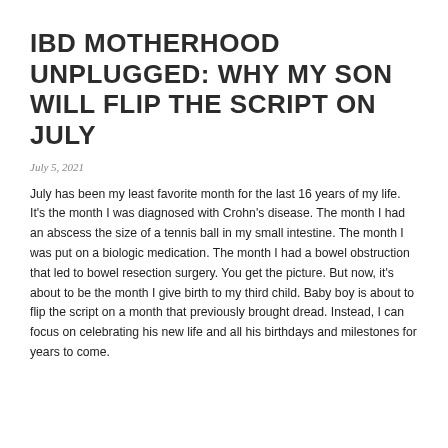IBD MOTHERHOOD UNPLUGGED: WHY MY SON WILL FLIP THE SCRIPT ON JULY
July 5, 2021
July has been my least favorite month for the last 16 years of my life. It’s the month I was diagnosed with Crohn’s disease. The month I had an abscess the size of a tennis ball in my small intestine. The month I was put on a biologic medication. The month I had a bowel obstruction that led to bowel resection surgery. You get the picture. But now, it’s about to be the month I give birth to my third child. Baby boy is about to flip the script on a month that previously brought dread. Instead, I can focus on celebrating his new life and all his birthdays and milestones for years to come.